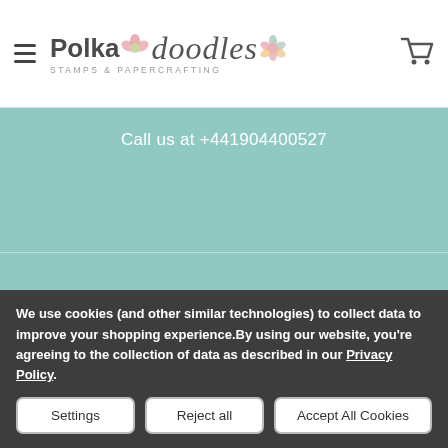Polkadoodles Stamps & Papercrafting — Call us at +441904400527
NAVIGATE
CATEGORIES
HOME
Shipping
New
Craft Jam - Limited Editions
We use cookies (and other similar technologies) to collect data to improve your shopping experience.By using our website, you're agreeing to the collection of data as described in our Privacy Policy.
Settings | Reject all | Accept All Cookies